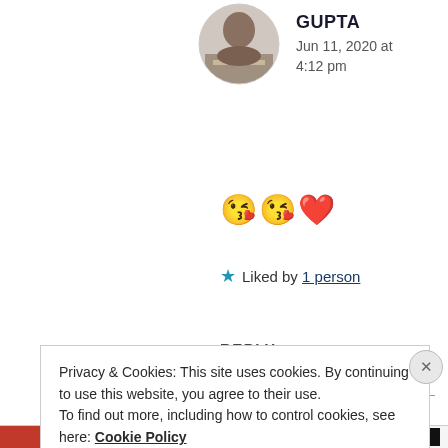[Figure (photo): Circular avatar photo of a person sitting at a desk, partially visible at top of page]
GUPTA
Jun 11, 2020 at 4:12 pm
😘😘❤️
★ Liked by 1 person
REPLY
Privacy & Cookies: This site uses cookies. By continuing to use this website, you agree to their use.
To find out more, including how to control cookies, see here: Cookie Policy
Close and accept